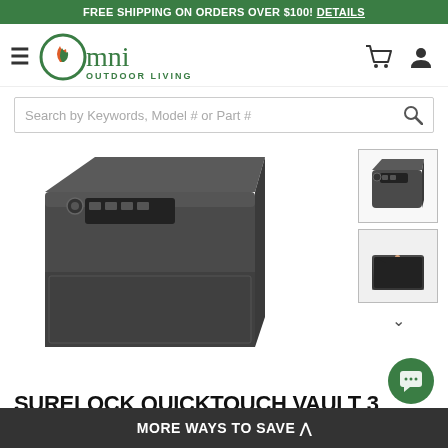FREE SHIPPING ON ORDERS OVER $100! DETAILS
[Figure (logo): Omni Outdoor Living logo with green leaf/flame icon and green text]
Search by Keywords, Model # or Part #
[Figure (photo): Main product photo of SureLock QuickTouch Vault 3 digital safe, dark charcoal color, viewed from above-front angle showing keypad on top]
[Figure (photo): Thumbnail 1: SureLock QuickTouch Vault 3 safe from above-angled view]
[Figure (photo): Thumbnail 2: Hand opening the safe drawer/keypad]
SURELOCK QUICKTOUCH VAULT 3 DIGITAL O
MORE WAYS TO SAVE ^